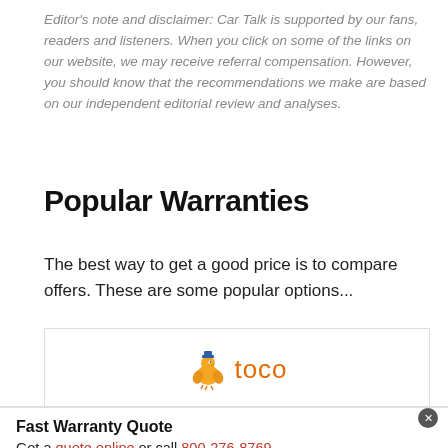Editor's note and disclaimer: Car Talk is supported by our fans, readers and listeners. When you click on some of the links on our website, we may receive referral compensation. However, you should know that the recommendations we make are based on our independent editorial review and analyses.
Popular Warranties
The best way to get a good price is to compare offers. These are some popular options...
[Figure (logo): Toco warranty logo showing a bird mascot in orange/blue with the word 'toco' in orange]
Fast Warranty Quote
Get a quote online or call 800-276-8769
Powered by: Toco